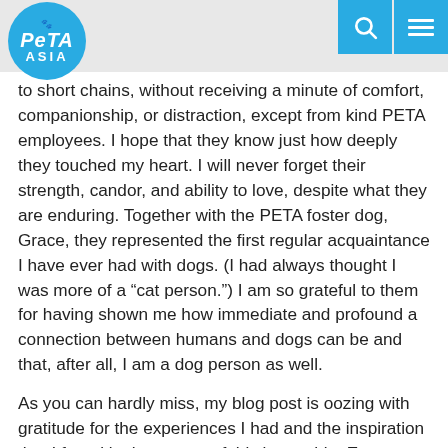PETA ASIA
to short chains, without receiving a minute of comfort, companionship, or distraction, except from kind PETA employees. I hope that they know just how deeply they touched my heart. I will never forget their strength, candor, and ability to love, despite what they are enduring. Together with the PETA foster dog, Grace, they represented the first regular acquaintance I have ever had with dogs. (I had always thought I was more of a “cat person.”) I am so grateful to them for having shown me how immediate and profound a connection between humans and dogs can be and that, after all, I am a dog person as well.
As you can hardly miss, my blog post is oozing with gratitude for the experiences I had and the inspiration that I found in the course of this internship. Even